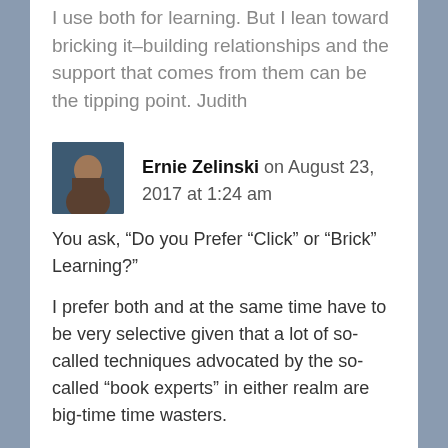I use both for learning. But I lean toward bricking it–building relationships and the support that comes from them can be the tipping point. Judith
Ernie Zelinski on August 23, 2017 at 1:24 am
You ask, “Do you Prefer “Click” or “Brick” Learning?”

I prefer both and at the same time have to be very selective given that a lot of so-called techniques advocated by the so-called “book experts” in either realm are big-time time wasters.

For example, just yesterday at a Chapters/Indigo bookstore in my hometown, I was surprised to see an author of two books doing a book signing (on a Tuesday at 4 PM). I